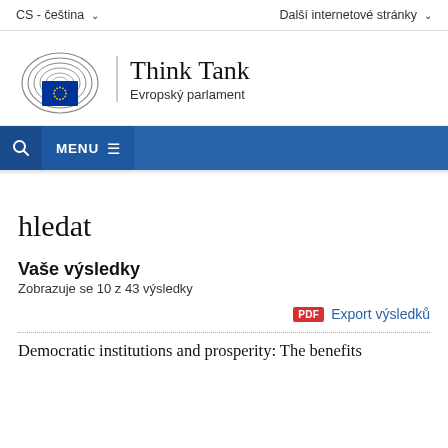CS - čeština    Další internetové stránky
[Figure (logo): European Parliament Think Tank logo with EP circular logo and text 'Think Tank / Evropský parlament']
MENU
hledat
Vaše výsledky
Zobrazuje se 10 z 43 výsledky
PDF Export výsledků
Democratic institutions and prosperity: The benefits